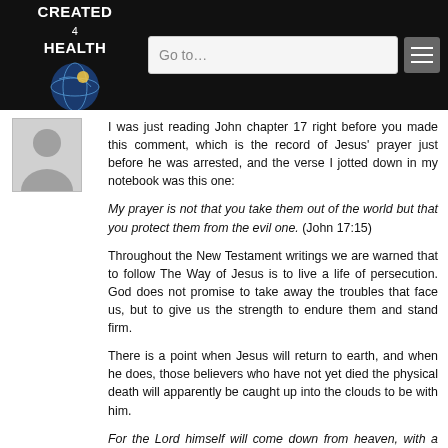CREATED 4 HEALTH
[Figure (illustration): User avatar placeholder silhouette in grey box]
I was just reading John chapter 17 right before you made this comment, which is the record of Jesus' prayer just before he was arrested, and the verse I jotted down in my notebook was this one:
My prayer is not that you take them out of the world but that you protect them from the evil one. (John 17:15)
Throughout the New Testament writings we are warned that to follow The Way of Jesus is to live a life of persecution. God does not promise to take away the troubles that face us, but to give us the strength to endure them and stand firm.
There is a point when Jesus will return to earth, and when he does, those believers who have not yet died the physical death will apparently be caught up into the clouds to be with him.
For the Lord himself will come down from heaven, with a loud command, with the voice of the archangel and with the